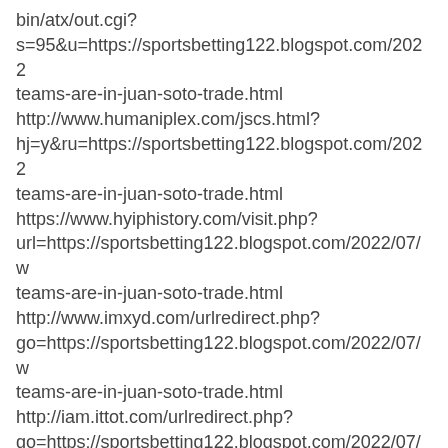bin/atx/out.cgi? s=95&u=https://sportsbetting122.blogspot.com/2022 teams-are-in-juan-soto-trade.html http://www.humaniplex.com/jscs.html? hj=y&ru=https://sportsbetting122.blogspot.com/2022 teams-are-in-juan-soto-trade.html https://www.hyiphistory.com/visit.php? url=https://sportsbetting122.blogspot.com/2022/07/w teams-are-in-juan-soto-trade.html http://www.imxyd.com/urlredirect.php? go=https://sportsbetting122.blogspot.com/2022/07/w teams-are-in-juan-soto-trade.html http://iam.ittot.com/urlredirect.php? go=https://sportsbetting122.blogspot.com/2022/07/w teams-are-in-juan-soto-trade.html http://kite-rider.com/0link/rank.cgi? mode=link&id=178&url=https://sportsbetting122.blog teams-are-in-juan-soto-trade.html http://ladyboysurprises.com/cgi-bin/at3/out.cgi?